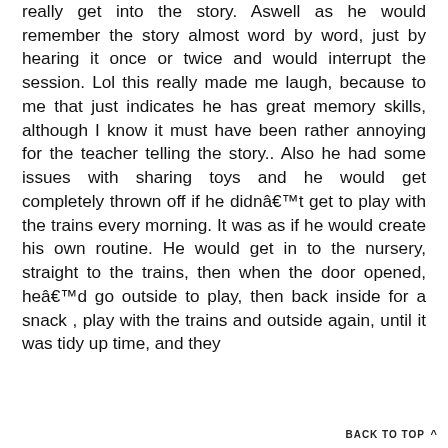really get into the story. Aswell as he would remember the story almost word by word, just by hearing it once or twice and would interrupt the session. Lol this really made me laugh, because to me that just indicates he has great memory skills, although I know it must have been rather annoying for the teacher telling the story.. Also he had some issues with sharing toys and he would get completely thrown off if he didnâ€™t get to play with the trains every morning. It was as if he would create his own routine. He would get in to the nursery, straight to the trains, then when the door opened, heâ€™d go outside to play, then back inside for a snack , play with the trains and outside again, until it was tidy up time, and they
BACK TO TOP ^